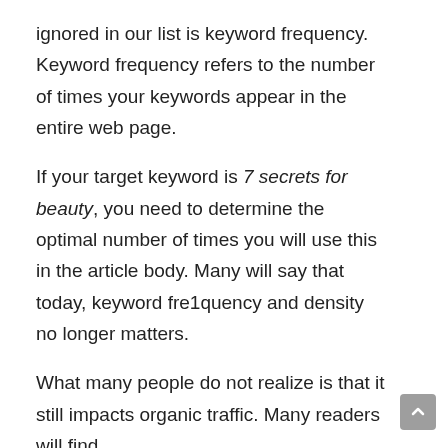ignored in our list is keyword frequency. Keyword frequency refers to the number of times your keywords appear in the entire web page.
If your target keyword is 7 secrets for beauty, you need to determine the optimal number of times you will use this in the article body. Many will say that today, keyword fre1quency and density no longer matters.
What many people do not realize is that it still impacts organic traffic. Many readers will find